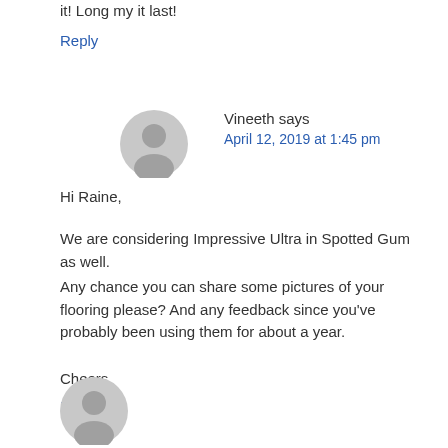it! Long my it last!
Reply
Vineeth says
April 12, 2019 at 1:45 pm
Hi Raine,
We are considering Impressive Ultra in Spotted Gum as well.
Any chance you can share some pictures of your flooring please? And any feedback since you've probably been using them for about a year.
Cheers
Reply